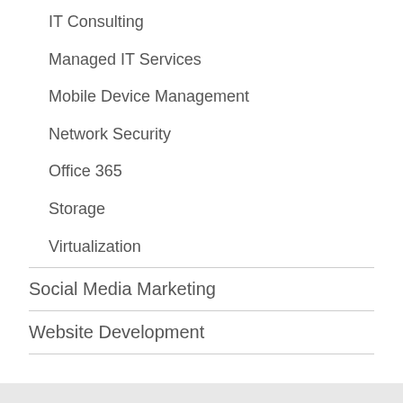IT Consulting
Managed IT Services
Mobile Device Management
Network Security
Office 365
Storage
Virtualization
Social Media Marketing
Website Development